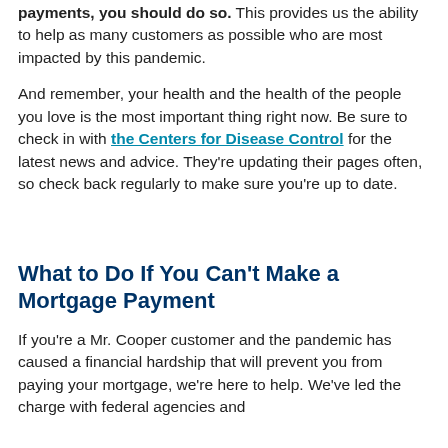payments, you should do so. This provides us the ability to help as many customers as possible who are most impacted by this pandemic.
And remember, your health and the health of the people you love is the most important thing right now. Be sure to check in with the Centers for Disease Control for the latest news and advice. They're updating their pages often, so check back regularly to make sure you're up to date.
What to Do If You Can't Make a Mortgage Payment
If you're a Mr. Cooper customer and the pandemic has caused a financial hardship that will prevent you from paying your mortgage, we're here to help. We've led the charge with federal agencies and